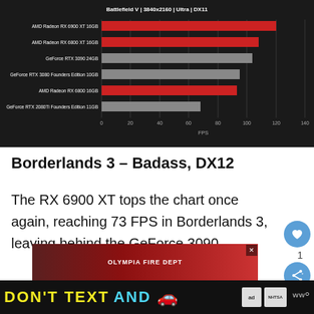[Figure (bar-chart): Battlefield V | 3840x2160 | Ultra | DX11]
Borderlands 3 – Badass, DX12
The RX 6900 XT tops the chart once again, reaching 73 FPS in Borderlands 3, leaving behind the GeForce 3090.
[Figure (photo): Advertisement banner showing people in front of Olympia Fire Department and anti-texting campaign]